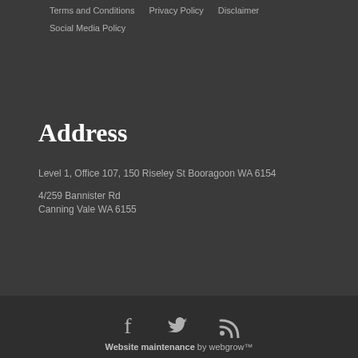Terms and Conditions
Privacy Policy
Disclaimer
Social Media Policy
Address
Level 1, Office 107, 150 Riseley St Booragoon WA 6154
4/259 Bannister Rd
Canning Vale WA 6155
[Figure (infographic): Social media icons: Facebook, Twitter, RSS feed]
Website maintenance by webgrow™